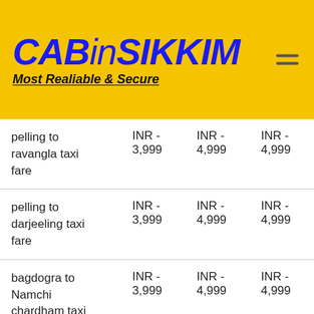[Figure (logo): CABinSIKKIM logo with yellow background, blue bold italic text, subtitle 'Most Realiable & Secure']
| pelling to ravangla taxi fare | INR -
3,999 | INR -
4,999 | INR -
4,999 |
| pelling to darjeeling taxi fare | INR -
3,999 | INR -
4,999 | INR -
4,999 |
| bagdogra to Namchi chardham taxi fare | INR -
3,999 | INR -
4,999 | INR -
4,999 |
| Namchi | INR - | INR - | INR - |